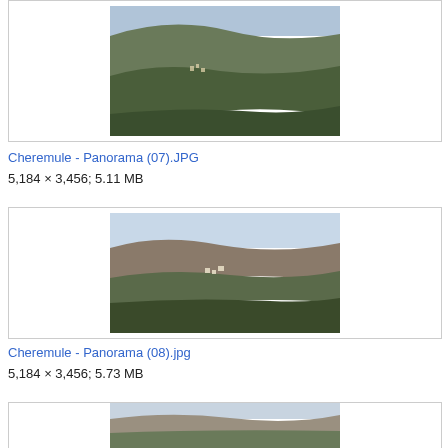[Figure (photo): Partial thumbnail of Cheremule panorama photo (top of page, cut off)]
Cheremule - Panorama (07).JPG
5,184 × 3,456; 5.11 MB
[Figure (photo): Thumbnail of Cheremule panorama (08) showing hilly landscape with scattered buildings and hazy sky]
Cheremule - Panorama (08).jpg
5,184 × 3,456; 5.73 MB
[Figure (photo): Partial thumbnail of another Cheremule panorama photo (bottom of page, cut off)]